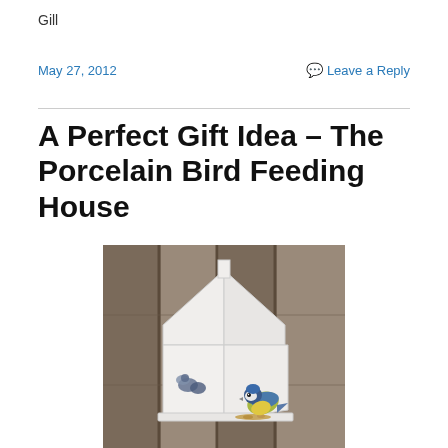Gill
May 27, 2012
Leave a Reply
A Perfect Gift Idea – The Porcelain Bird Feeding House
[Figure (photo): A white porcelain bird feeding house shaped like a cottage, mounted on a wooden fence. A blue tit bird is perched at the front feeding tray eating seeds, and bird illustrations are painted on the side panel.]